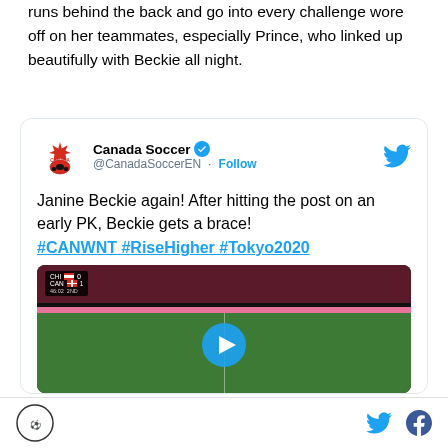runs behind the back and go into every challenge wore off on her teammates, especially Prince, who linked up beautifully with Beckie all night.
[Figure (screenshot): Embedded tweet from Canada Soccer (@CanadaSoccerEN) with text: 'Janine Beckie again! After hitting the post on an early PK, Beckie gets a brace! #CANWNT #RiseHigher #Tokyo2020' with a video thumbnail showing a soccer field with a scoreboard reading CHI 0, CAN 1, 46:02 2ND and a Watch on Twitter overlay.]
Footer with site logo, Twitter icon, and Facebook icon